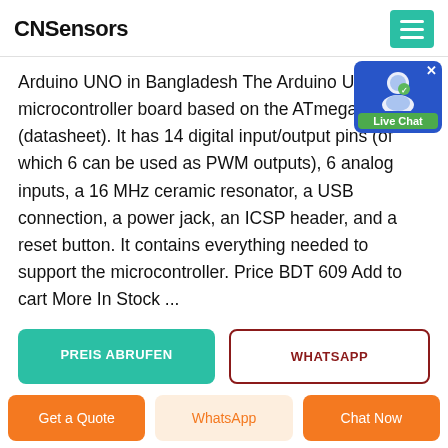CNSensors
Arduino UNO in Bangladesh The Arduino Uno is a microcontroller board based on the ATmega328 (datasheet). It has 14 digital input/output pins (of which 6 can be used as PWM outputs), 6 analog inputs, a 16 MHz ceramic resonator, a USB connection, a power jack, an ICSP header, and a reset button. It contains everything needed to support the microcontroller. Price BDT 609 Add to cart More In Stock ...
[Figure (screenshot): Live Chat widget overlay showing user icon with green checkmark and 'Live Chat' label on blue background]
PREIS ABRUFEN
WHATSAPP
Get a Quote
WhatsApp
Chat Now